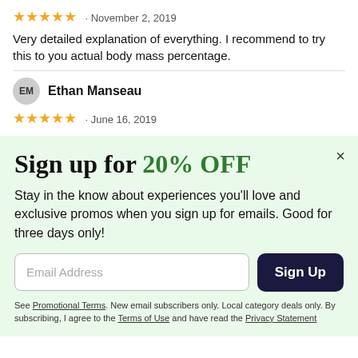★★★★★ · November 2, 2019
Very detailed explanation of everything. I recommend to try this to you actual body mass percentage.
EM  Ethan Manseau
★★★★★ · June 16, 2019
Sign up for 20% OFF
Stay in the know about experiences you'll love and exclusive promos when you sign up for emails. Good for three days only!
Email Address
Sign Up
See Promotional Terms. New email subscribers only. Local category deals only. By subscribing, I agree to the Terms of Use and have read the Privacy Statement